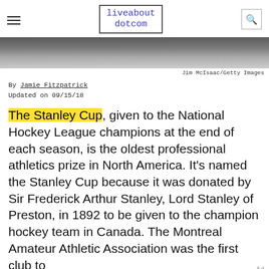liveabout dotcom
[Figure (photo): Hockey players at the boards, partial view of skates and ice rink boards, black and white tones]
Jim McIsaac/Getty Images
By Jamie Fitzpatrick
Updated on 09/15/18
The Stanley Cup, given to the National Hockey League champions at the end of each season, is the oldest professional athletics prize in North America. It's named the Stanley Cup because it was donated by Sir Frederick Arthur Stanley, Lord Stanley of Preston, in 1892 to be given to the champion hockey team in Canada. The Montreal Amateur Athletic Association was the first club to